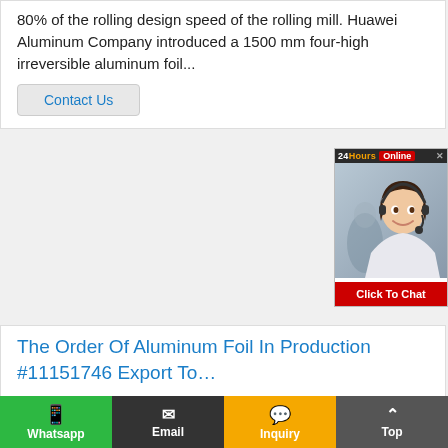80% of the rolling design speed of the rolling mill. Huawei Aluminum Company introduced a 1500 mm four-high irreversible aluminum foil...
Contact Us
[Figure (photo): Customer service representative with headset, 24 Hours Online chat widget with Click To Chat button]
The Order Of Aluminum Foil In Production #11151746 Export To…
ITEM SIZE (MM) ALLOY / TEMPER WEIGHT (KGS)  ALUMINIUM FOIL, ID: 76MM, ROLL LENGTH: 12000 - 13000 meters 1 0.007*1270 1235 O 18000.00
Contact Us
Whatsapp  Email  Inquiry  Top